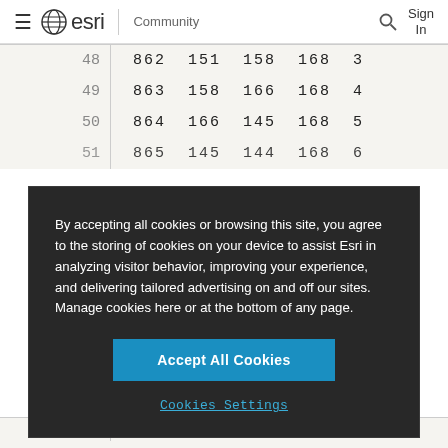≡ esri | Community  🔍  Sign In
| 48 | 862 151 158 168 3 |
| 49 | 863 158 166 168 4 |
| 50 | 864 166 145 168 5 |
| 51 | 865 145 144 168 6 |
By accepting all cookies or browsing this site, you agree to the storing of cookies on your device to assist Esri in analyzing visitor behavior, improving your experience, and delivering tailored advertising on and off our sites. Manage cookies here or at the bottom of any page.
Accept All Cookies
Cookies Settings